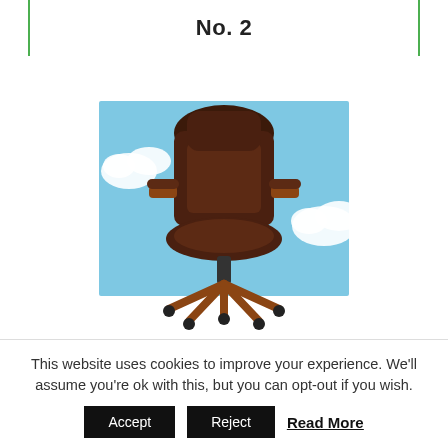No. 2
[Figure (photo): Product photo of a Serta Big and Tall Executive Office Chair with brown leather upholstery and wood accents, shown against a light blue sky background with white clouds]
Serta Big and Tall Executive Office Chair with Wood Accents Adjustable High Back...
Rating: No ratings yet
This website uses cookies to improve your experience. We'll assume you're ok with this, but you can opt-out if you wish.
Accept | Reject | Read More